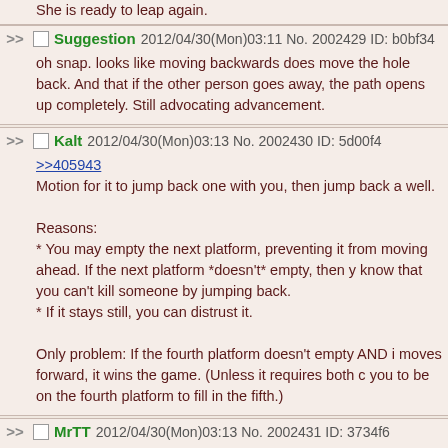She is ready to leap again.
Suggestion 2012/04/30(Mon)03:11 No. 2002429 ID: b0bf34
oh snap. looks like moving backwards does move the hole back. And that if the other person goes away, the path opens up completely. Still advocating advancement.
Kalt 2012/04/30(Mon)03:13 No. 2002430 ID: 5d00f4
>>405943
Motion for it to jump back one with you, then jump back as well.

Reasons:
* You may empty the next platform, preventing it from moving ahead. If the next platform *doesn't* empty, then you know that you can't kill someone by jumping back.
* If it stays still, you can distrust it.

Only problem: If the fourth platform doesn't empty AND it moves forward, it wins the game. (Unless it requires both of you to be on the fourth platform to fill in the fifth.)
MrTT 2012/04/30(Mon)03:13 No. 2002431 ID: 3734f6
this is a competition, if the previous one was any indication